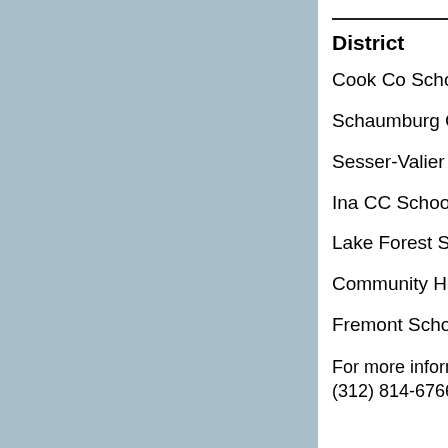District
Cook Co School D
Schaumburg CC S
Sesser-Valier CU
Ina CC School Dis
Lake Forest Scho
Community High S
Fremont School D
For more informatio (312) 814-6766.